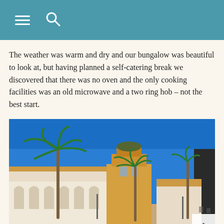≡  🔍
The weather was warm and dry and our bungalow was beautiful to look at, but having planned a self-catering break we discovered that there was no oven and the only cooking facilities was an old microwave and a two ring hob – not the best start.
[Figure (photo): Outdoor resort courtyard with palm trees, blue sky, white/ochre Mediterranean-style buildings with arched colonnades, and paved plaza area.]